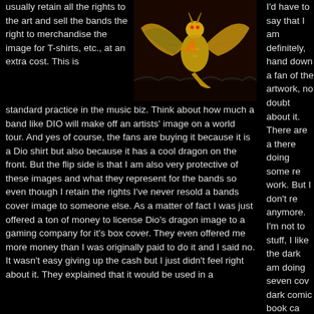usually retain all the rights to the art and sell the bands the right to merchandise the image for T-shirts, etc., at an extra cost. This is standard practice in the music biz. Think about how much a band like DIO will make off an artists' image on a world tour. And yes of course, the fans are buying it because it is a Dio shirt but also because it has a cool dragon on the front. But the flip side is that I am also very protective of these images and what they represent for the bands so even though I retain the rights I've never resold a bands cover image to someone else. As a matter of fact I was just offered a ton of money to license Dio's dragon image to a gaming company for it's box cover. They even offered me more money than I was originally paid to do it and I said no. It wasn't easy giving up the cash but I just didn't feel right about it. They explained that it would be used in a
[Figure (illustration): Fantasy illustration of a golden dragon with wings spread over a crowd, with fire and battle scenes below]
I'd have to say that I am definitely, hands down a fan of the artwork, no doubt about it. There are a there doing some re work. But I don't re anymore. I'm not to stuff, I like the dark am doing seven cov dark comic book ca The creator is a goo LA and some of yo may remember him Regent St. Claire - 80's metal band - K matter what, it all g
So, have you hidde any covers?
Uh, no.
Do you follow all o